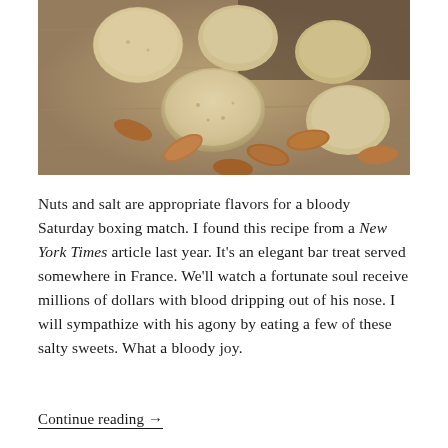[Figure (photo): A wooden cutting board with several round almond biscuits/cookies and scattered whole almonds on top.]
Nuts and salt are appropriate flavors for a bloody Saturday boxing match. I found this recipe from a New York Times article last year. It's an elegant bar treat served somewhere in France. We'll watch a fortunate soul receive millions of dollars with blood dripping out of his nose. I will sympathize with his agony by eating a few of these salty sweets. What a bloody joy.
Continue reading →